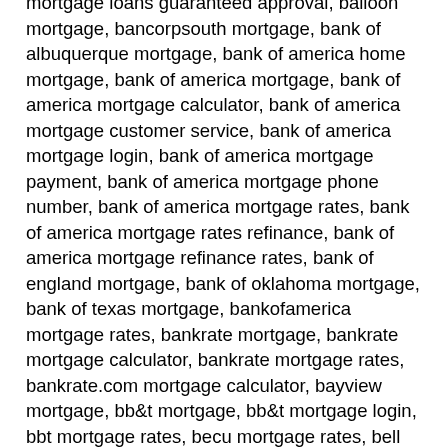mortgage loans guaranteed approval, balloon mortgage, bancorpsouth mortgage, bank of albuquerque mortgage, bank of america home mortgage, bank of america mortgage, bank of america mortgage calculator, bank of america mortgage customer service, bank of america mortgage login, bank of america mortgage payment, bank of america mortgage phone number, bank of america mortgage rates, bank of america mortgage rates refinance, bank of america mortgage refinance rates, bank of england mortgage, bank of oklahoma mortgage, bank of texas mortgage, bankofamerica mortgage rates, bankrate mortgage, bankrate mortgage calculator, bankrate mortgage rates, bankrate.com mortgage calculator, bayview mortgage, bb&t mortgage, bb&t mortgage login, bbt mortgage rates, becu mortgage rates, bell bank mortgage, benchmark mortgage, best 15 year mortgage rates, best 30 year mortgage rates, best mortgage companies, best mortgage lenders, best mortgage lenders for first time buyers, best mortgage rates, best mortgage rates today, best mortgage refinance rates, best refinance mortgage rates, better mortgage, better mortgage reviews, biweekly mortgage calculator, blanket mortgage, boa mortgage rates, bofa mortgage rates, calculate monthly mortgage payment, calculate mortgage, calculate mortgage payment, calculate mortgage payments, calculate my mortgage, calculator mortgage, caliber mortgage, can i get a mortgage with no money down, can i pay my mortgage with a credit card, can i